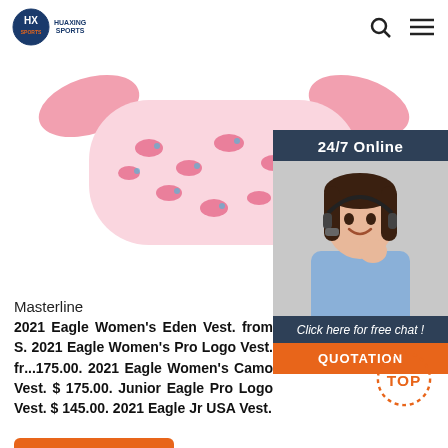HUAXING SPORTS
[Figure (photo): Product photo of a pink cloth item with whale pattern, with pink strap-like extensions on the sides, on white background.]
[Figure (photo): 24/7 Online customer service panel featuring a smiling woman with a headset, dark teal background, with 'Click here for free chat!' text and an orange QUOTATION button.]
Masterline
2021 Eagle Women's Eden Vest. from $. 2021 Eagle Women's Pro Logo Vest. from 175.00. 2021 Eagle Women's Camo Vest. $ 175.00. Junior Eagle Pro Logo Vest. $ 145.00. 2021 Eagle Jr USA Vest.
[Figure (other): TOP button with orange dotted circle and orange TOP text]
Get Price